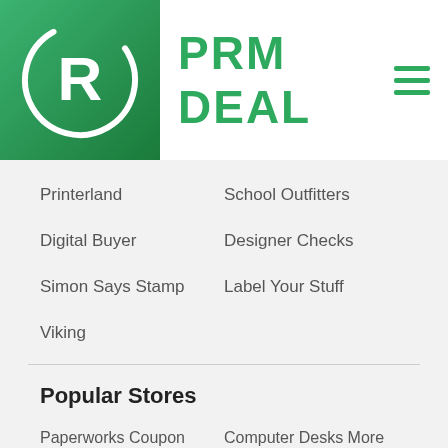PRM DEAL
Printerland
School Outfitters
Digital Buyer
Designer Checks
Simon Says Stamp
Label Your Stuff
Viking
Popular Stores
Paperworks Coupon
Computer Desks More Coupon
Usc Bookstore Coupon
Dies R Us Coupons
Office Sight Coupons
Staples Canada Coupon
The Dodo Pad Discount Code
School Stickers Coupons
Cartridge Save Discount Codes
Print Pal Coupons & Deals